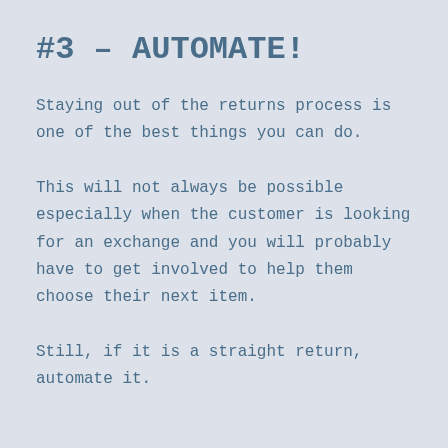#3 - AUTOMATE!
Staying out of the returns process is one of the best things you can do.
This will not always be possible especially when the customer is looking for an exchange and you will probably have to get involved to help them choose their next item.
Still, if it is a straight return, automate it.